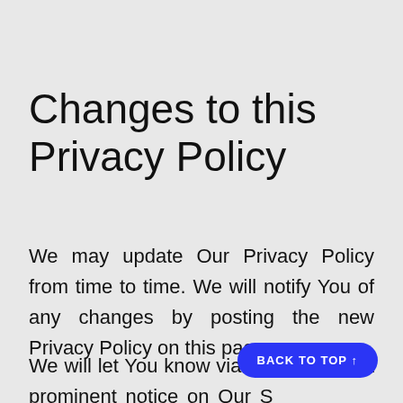Changes to this Privacy Policy
We may update Our Privacy Policy from time to time. We will notify You of any changes by posting the new Privacy Policy on this page.
We will let You know via email and/or a prominent notice on Our S... to prior to the change becoming effective and...
BACK TO TOP ↑